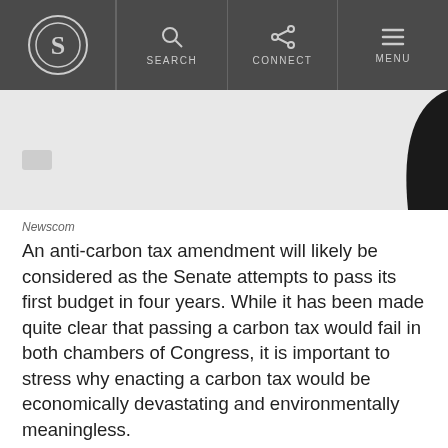S [logo] | SEARCH | CONNECT | MENU
[Figure (photo): Partial image of an object against white/gray background, with a black curved element on the right side]
Newscom
An anti-carbon tax amendment will likely be considered as the Senate attempts to pass its first budget in four years. While it has been made quite clear that passing a carbon tax would fail in both chambers of Congress, it is important to stress why enacting a carbon tax would be economically devastating and environmentally meaningless.
As Australia is currently experiencing, the adverse effects of a carbon tax will ripple through the economy. A majority of American's energy needs